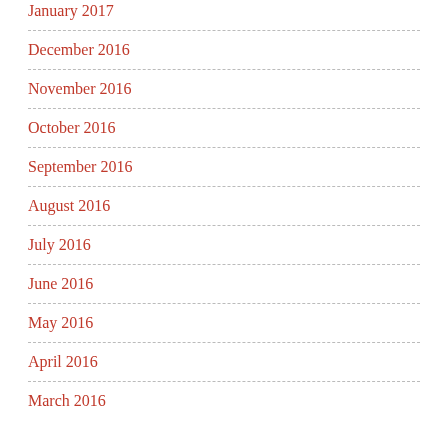January 2017
December 2016
November 2016
October 2016
September 2016
August 2016
July 2016
June 2016
May 2016
April 2016
March 2016